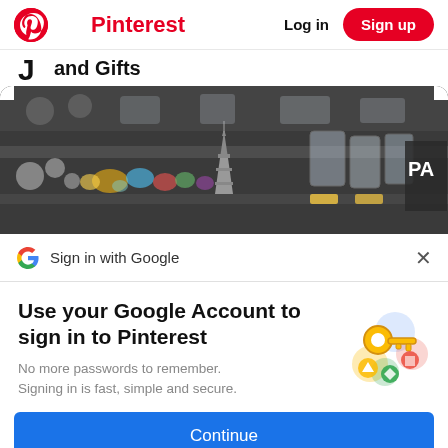Pinterest  Log in  Sign up
and Gifts
[Figure (photo): A blurred photo of a gift shop shelf with colorful trinkets and glassware, including a miniature Eiffel Tower figurine in the center foreground and glass mugs on the right.]
Sign in with Google
Use your Google Account to sign in to Pinterest
No more passwords to remember. Signing in is fast, simple and secure.
[Figure (illustration): Google account illustration showing a golden key with colorful circular icons representing Google sign-in security.]
Continue